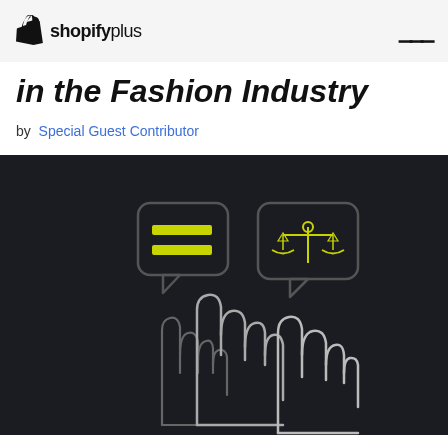shopify plus
in the Fashion Industry
by Special Guest Contributor
[Figure (illustration): Dark background illustration showing three raised hands with outline style, accompanied by two speech bubble icons — one containing two horizontal bars (yellow/lime) and one containing a balance scale (yellow/lime). The scene suggests voting or ethical decision-making in fashion.]